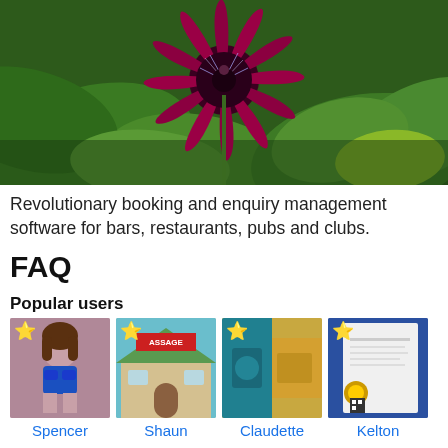[Figure (photo): Close-up photo of a deep red/magenta passion flower with dark green leaves in the background]
Revolutionary booking and enquiry management software for bars, restaurants, pubs and clubs.
FAQ
Popular users
[Figure (photo): Profile photo of Spencer - woman in blue bikini]
Spencer
[Figure (photo): Profile photo of Shaun - massage therapy building with green roof]
Shaun
[Figure (photo): Profile photo of Claudette - close-up of yellow and teal object]
Claudette
[Figure (photo): Profile photo of Kelton - certificate or award document with blue background]
Kelton